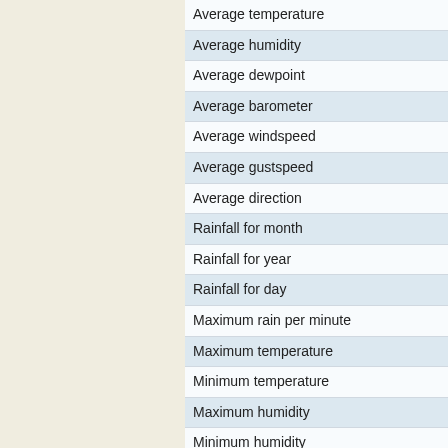Average temperature
Average humidity
Average dewpoint
Average barometer
Average windspeed
Average gustspeed
Average direction
Rainfall for month
Rainfall for year
Rainfall for day
Maximum rain per minute
Maximum temperature
Minimum temperature
Maximum humidity
Minimum humidity
Maximum pressure
Minimum pressure
Maximum windspeed
Maximum gust speed